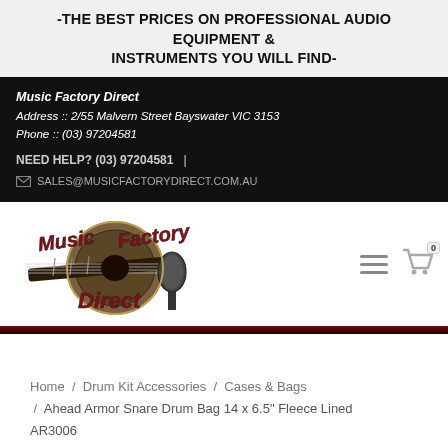-THE BEST PRICES ON PROFESSIONAL AUDIO EQUIPMENT & INSTRUMENTS YOU WILL FIND-
Music Factory Direct
Address :: 2/55 Malvern Street Bayswater VIC 3153
Phone :: (03) 97204581

NEED HELP? (03) 97204581  |
SALES@MUSICFACTORYDIRECT.COM.AU
[Figure (logo): Music Factory Direct logo showing guitar and microphone with stylized text]
Home  /  Drum Kit Accessories  /  Cases & Bags  /  Ahead Armor Snare Drum Bag 14 x 6.5" Fleece Lined AR3006